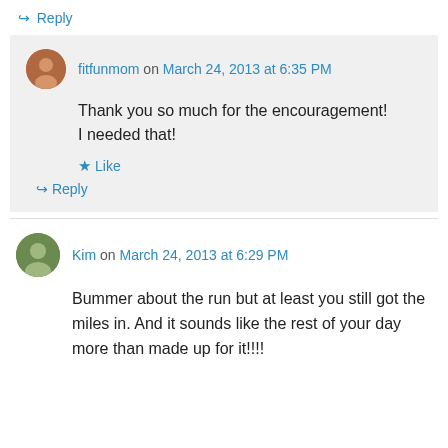↳ Reply
fitfunmom on March 24, 2013 at 6:35 PM
Thank you so much for the encouragement! I needed that!
★ Like
↳ Reply
Kim on March 24, 2013 at 6:29 PM
Bummer about the run but at least you still got the miles in. And it sounds like the rest of your day more than made up for it!!!!